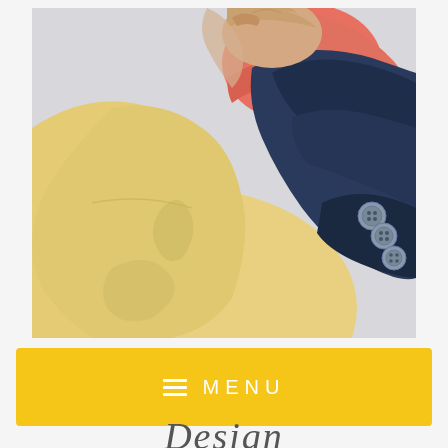[Figure (photo): Close-up photo of a person's back/shoulder area wearing a pale yellow jacket/coat, with a navy blue blazer sleeve visible featuring three decorative buttons, and a coral/salmon colored sweater visible at the collar area. The background is light gray/white.]
≡  MENU
Design